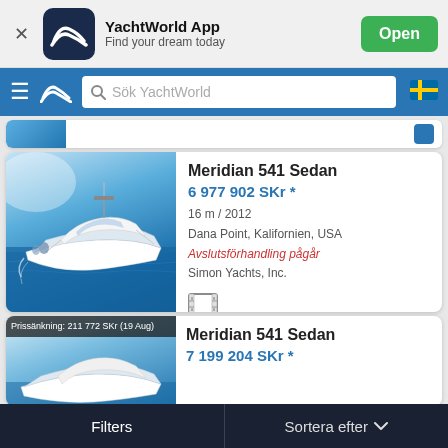[Figure (screenshot): YachtWorld App banner with logo, tagline 'Find your dream today', and Open button]
[Figure (screenshot): YachtWorld navigation bar with hamburger menu, logo, search field 'Sök YachtWorld', and Swedish flag icon]
[Figure (photo): Meridian 541 Sedan yacht photo on water]
Meridian 541 Sedan
6 977 902 SKr *
16 m / 2012
Dana Point, Kalifornien, USA
Avslutsförhandling pågår
Simon Yachts, Inc.
[Figure (photo): Second Meridian 541 Sedan yacht listing with price drop badge: Prissänkning: 211 772 SKr (19 Aug)]
Meridian 541 Sedan
7 199 204 SKr *
Filters    Sortera efter